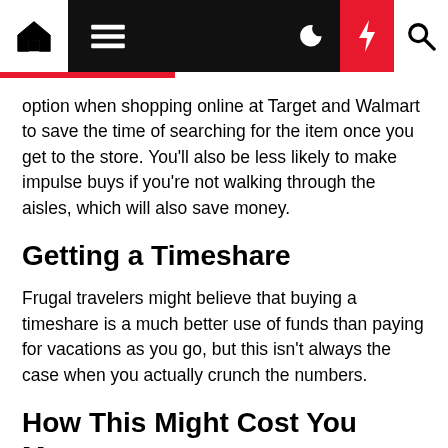Navigation bar with home, menu, dark mode, flash, and search icons
option when shopping online at Target and Walmart to save the time of searching for the item once you get to the store. You'll also be less likely to make impulse buys if you're not walking through the aisles, which will also save money.
Getting a Timeshare
Frugal travelers might believe that buying a timeshare is a much better use of funds than paying for vacations as you go, but this isn't always the case when you actually crunch the numbers.
How This Might Cost You More
Ro Allen. “For example, let’s look at the cost of vacationing for over 20 years with a timeshare that